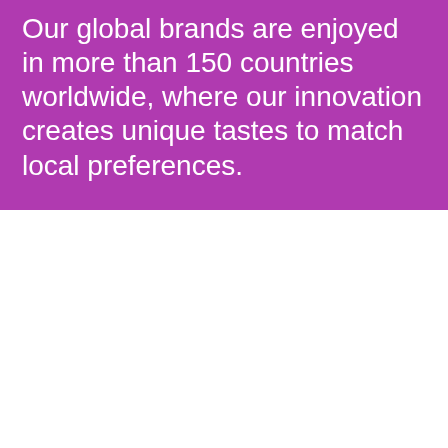Our global brands are enjoyed in more than 150 countries worldwide, where our innovation creates unique tastes to match local preferences.
Global brands
[Figure (photo): Mentos mint candy roll product image on colorful circular shapes background (blue and yellow circles). The Mentos roll package is light blue with the Mentos logo in dark blue italic lettering and a red-bordered 'mint' badge.]